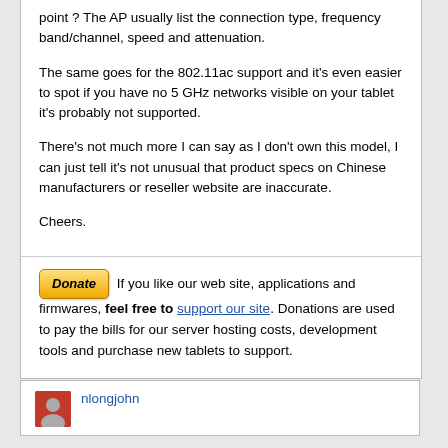point ? The AP usually list the connection type, frequency band/channel, speed and attenuation.
The same goes for the 802.11ac support and it's even easier to spot if you have no 5 GHz networks visible on your tablet it's probably not supported.
There's not much more I can say as I don't own this model, I can just tell it's not unusual that product specs on Chinese manufacturers or reseller website are inaccurate.
Cheers.
If you like our web site, applications and firmwares, feel free to support our site. Donations are used to pay the bills for our server hosting costs, development tools and purchase new tablets to support.
nlongjohn